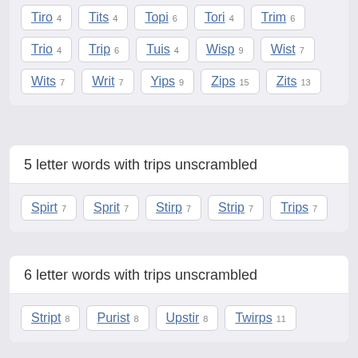Tiro 4
Tits 4
Topi 6
Tori 4
Trim 6
Trio 4
Trip 6
Tuis 4
Wisp 9
Wist 7
Wits 7
Writ 7
Yips 9
Zips 15
Zits 13
5 letter words with trips unscrambled
Spirt 7
Sprit 7
Stirp 7
Strip 7
Trips 7
6 letter words with trips unscrambled
Stript 8
Purist 8
Upstir 8
Twirps 11